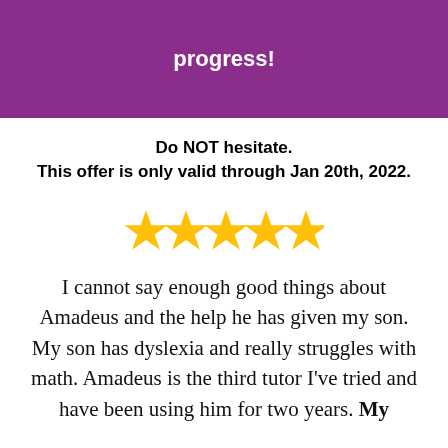progress!
Do NOT hesitate.
This offer is only valid through Jan 20th, 2022.
[Figure (illustration): Five gold star rating icons in a row]
I cannot say enough good things about Amadeus and the help he has given my son. My son has dyslexia and really struggles with math. Amadeus is the third tutor I've tried and have been using him for two years. My